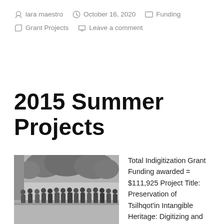lara maestro  October 16, 2020  Funding  Grant Projects  Leave a comment
2015 Summer Projects
[Figure (photo): Black and white group photo of approximately 15-20 people standing outdoors in front of trees and a building]
Total Indigitization Grant Funding awarded = $111,925 Project Title: Preservation of Tsilhqot'in Intangible Heritage: Digitizing and